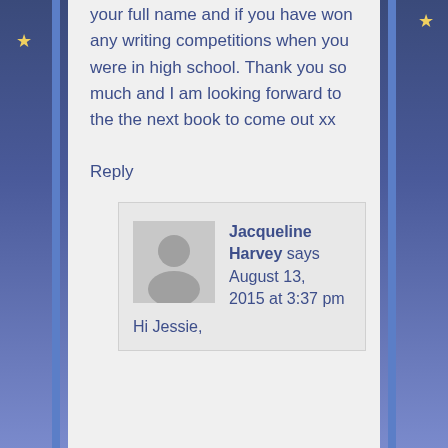your full name and if you have won any writing competitions when you were in high school. Thank you so much and I am looking forward to the the next book to come out xx
Reply
Jacqueline Harvey says August 13, 2015 at 3:37 pm
Hi Jessie,